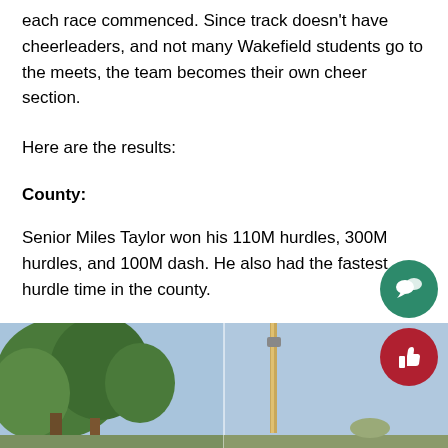each race commenced. Since track doesn't have cheerleaders, and not many Wakefield students go to the meets, the team becomes their own cheer section.
Here are the results:
County:
Senior Miles Taylor won his 110M hurdles, 300M hurdles, and 100M dash. He also had the fastest hurdle time in the county.
[Figure (photo): Outdoor photo showing trees on the left and a pole on the right against a blue sky background, split into two panels.]